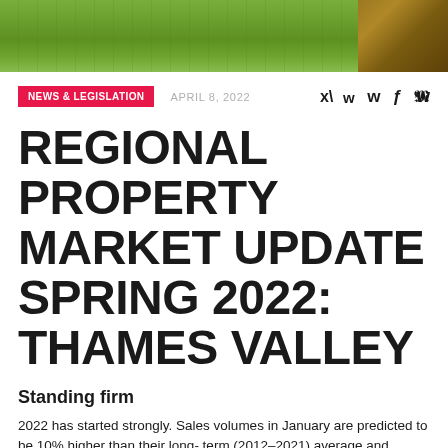[Figure (photo): Aerial or ground-level photo of a garden lawn with green grass and wooden fence/decking on the right side]
NEWS & LEGISLATION   APRIL 8, 2022
REGIONAL PROPERTY MARKET UPDATE SPRING 2022: THAMES VALLEY
Standing firm
2022 has started strongly. Sales volumes in January are predicted to be 10% higher than their long- term (2012–2021) average and, except for a year ago, are the strongest since 2007 (Dataloft, HMRC). Buyer demand remains